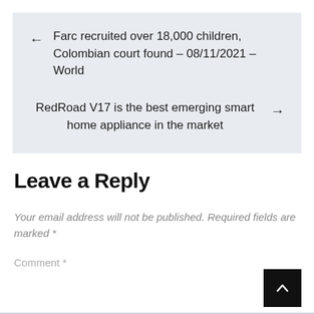← Farc recruited over 18,000 children, Colombian court found – 08/11/2021 – World
RedRoad V17 is the best emerging smart home appliance in the market →
Leave a Reply
Your email address will not be published. Required fields are marked *
Comment *